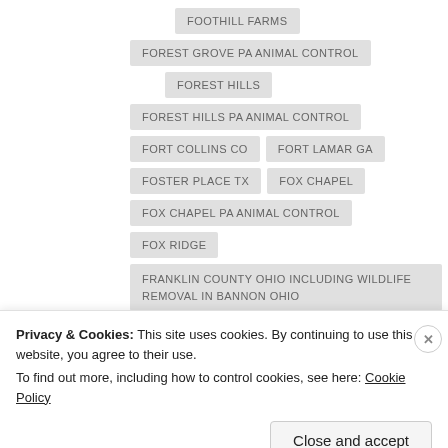FOOTHILL FARMS
FOREST GROVE PA ANIMAL CONTROL
FOREST HILLS
FOREST HILLS PA ANIMAL CONTROL
FORT COLLINS CO
FORT LAMAR GA
FOSTER PLACE TX
FOX CHAPEL
FOX CHAPEL PA ANIMAL CONTROL
FOX RIDGE
FRANKLIN COUNTY OHIO INCLUDING WILDLIFE REMOVAL IN BANNON OHIO
FRANKLIN PARK
Privacy & Cookies: This site uses cookies. By continuing to use this website, you agree to their use.
To find out more, including how to control cookies, see here: Cookie Policy
Close and accept